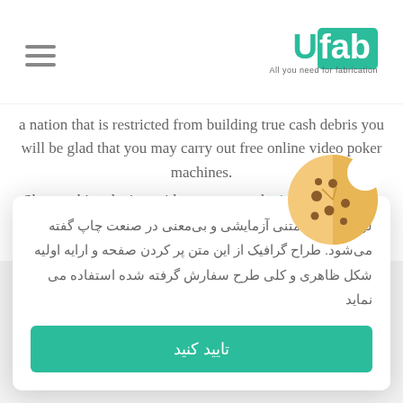UFab – All you need for fabrication
a nation that is restricted from building true cash debris you will be glad that you may carry out free online video poker machines
Slot machine devices video games on the informative post internet free of charge have fun with, have fun with free of charge slot machines money clams. A new variety can be tried by you of online slots, decide which game titles you prefer, and develop preferences and strategies without risking cash. These chips are
لورم اپیسوم متنی آزمایشی و بی‌معنی در صنعت چاپ گفته می‌شود. طراح گرافیک از این متن پر کردن صفحه و ارایه اولیه شکل ظاهری و کلی طرح سفارش گرفته شده استفاده می نماید
تایید کنید